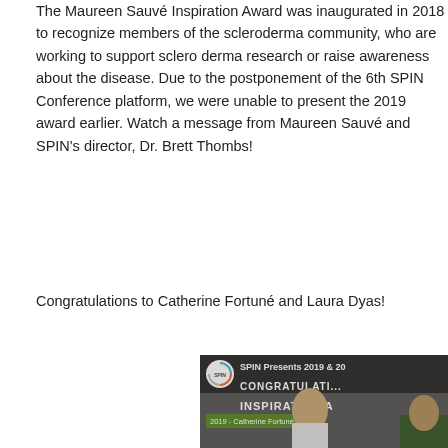The Maureen Sauvé Inspiration Award was inaugurated in 2018 to recognize members of the scleroderma community, who are working to support scleroderma research or raise awareness about the disease. Due to the postponement of the 6th SPIN Conference platform, we were unable to present the 2019 award earlier. Watch a message from Maureen Sauvé and SPIN's director, Dr. Brett Thombs!
Congratulations to Catherine Fortuné and Laura Dyas!
[Figure (screenshot): Video thumbnail showing SPIN Presents 2019 & 2020 Maureen Sauvé Inspiration Award. Shows SPIN logo, text 'CONGRATULATIONS INSPIRATION AWARD', green bar with '2019 - Catherine Fortuné', and photos of award recipients.]